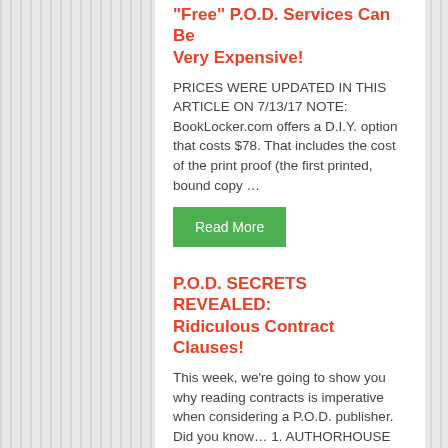"Free" P.O.D. Services Can Be Very Expensive!
PRICES WERE UPDATED IN THIS ARTICLE ON 7/13/17 NOTE: BookLocker.com offers a D.I.Y. option that costs $78. That includes the cost of the print proof (the first printed, bound copy …
Read More
P.O.D. SECRETS REVEALED: Ridiculous Contract Clauses!
This week, we're going to show you why reading contracts is imperative when considering a P.O.D. publisher. Did you know… 1. AUTHORHOUSE OWNS YOUR PRODUCTION FILES…AND SO DOES ALMOST EVERYBODY …
Read More